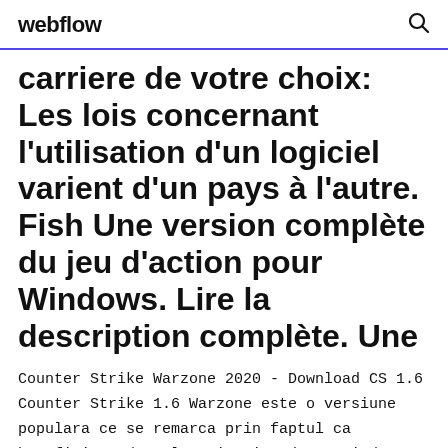webflow
carriere de votre choix: Les lois concernant l'utilisation d'un logiciel varient d'un pays à l'autre. Fish Une version complète du jeu d'action pour Windows. Lire la description complète. Une
Counter Strike Warzone 2020 - Download CS 1.6 Counter Strike 1.6 Warzone este o versiune populara ce se remarca prin faptul ca beneficiaza de cele mai noi update-uri de joc. Versiunea prezentata aici se poate descarca prin download direct in varianta setup, arhiva